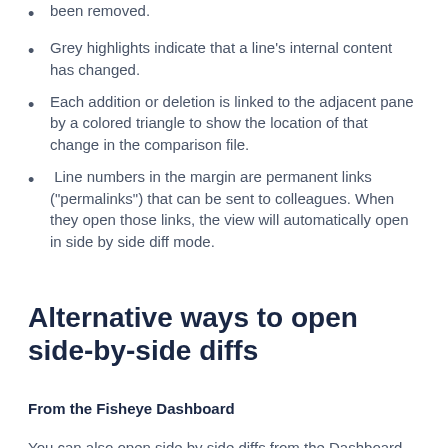been removed.
Grey highlights indicate that a line's internal content has changed.
Each addition or deletion is linked to the adjacent pane by a colored triangle to show the location of that change in the comparison file.
Line numbers in the margin are permanent links ("permalinks") that can be sent to colleagues. When they open those links, the view will automatically open in side by side diff mode.
Alternative ways to open side-by-side diffs
From the Fisheye Dashboard
You can also open side by side diffs from the Dashboard screens, by clicking the [Delta] triangle